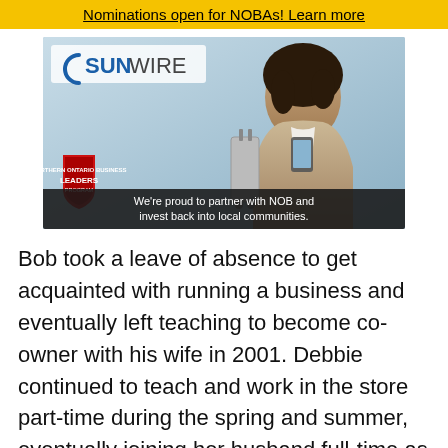Nominations open for NOBAs! Learn more
[Figure (photo): Advertisement for SunWire featuring a woman checking her phone with a suitcase, alongside a Northern Ontario Business Leaders Program badge, with caption: We're proud to partner with NOB and invest back into local communities.]
Bob took a leave of absence to get acquainted with running a business and eventually left teaching to become co-owner with his wife in 2001. Debbie continued to teach and work in the store part-time during the spring and summer, eventually joining her husband full-time as well.
They both enjoy working together but mostly love serving the community, much like her parents. Burrows was never far away, always there in the background